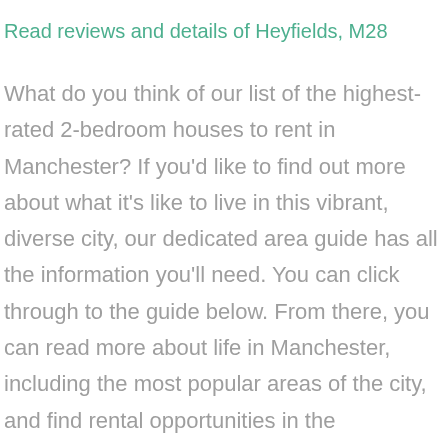Read reviews and details of Heyfields, M28
What do you think of our list of the highest-rated 2-bedroom houses to rent in Manchester? If you'd like to find out more about what it's like to live in this vibrant, diverse city, our dedicated area guide has all the information you'll need. You can click through to the guide below. From there, you can read more about life in Manchester, including the most popular areas of the city, and find rental opportunities in the Manchester area.